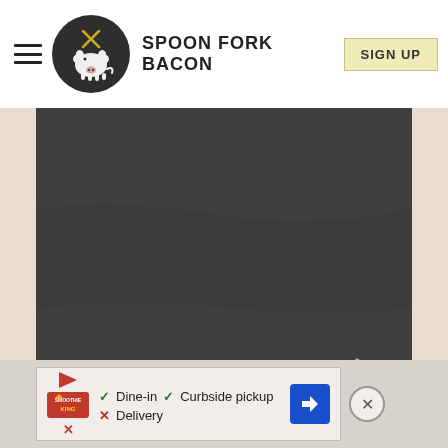SPOON FORK BACON | SIGN UP
[Figure (photo): Top-down food photo of open-faced turkey/chicken sandwiches on toast topped with yellow cheese sauce and pieces of crispy bacon, served on a dark slate/metal plate]
[Figure (screenshot): Advertisement banner: Smoothie King logo with play icon, checkmarks for Dine-in and Curbside pickup, X for Delivery, blue navigation arrow button, and close X button]